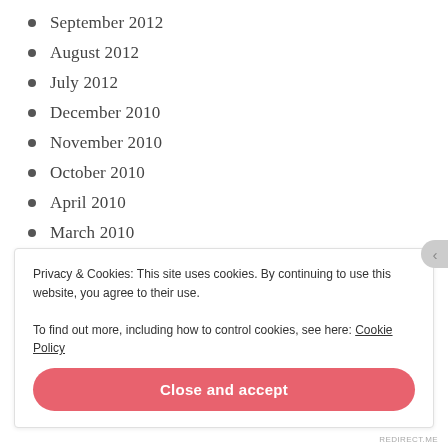September 2012
August 2012
July 2012
December 2010
November 2010
October 2010
April 2010
March 2010
February 2010
January 2010
Privacy & Cookies: This site uses cookies. By continuing to use this website, you agree to their use. To find out more, including how to control cookies, see here: Cookie Policy
Close and accept
REDIRECT.ME